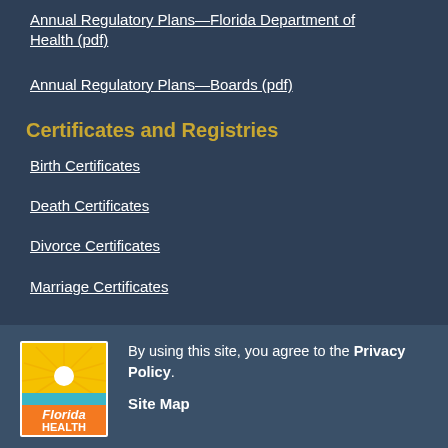Annual Regulatory Plans—Florida Department of Health (pdf)
Annual Regulatory Plans—Boards (pdf)
Certificates and Registries
Birth Certificates
Death Certificates
Divorce Certificates
Marriage Certificates
[Figure (logo): Florida Health logo with yellow sunburst, orange text 'Florida HEALTH' on blue/teal background]
By using this site, you agree to the Privacy Policy.
Site Map